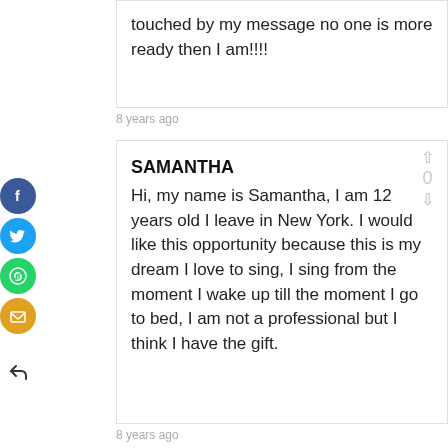touched by my message no one is more ready then I am!!!!
8 years ago
SAMANTHA
Hi, my name is Samantha, I am 12 years old I leave in New York. I would like this opportunity because this is my dream I love to sing, I sing from the moment I wake up till the moment I go to bed, I am not a professional but I think I have the gift.
8 years ago